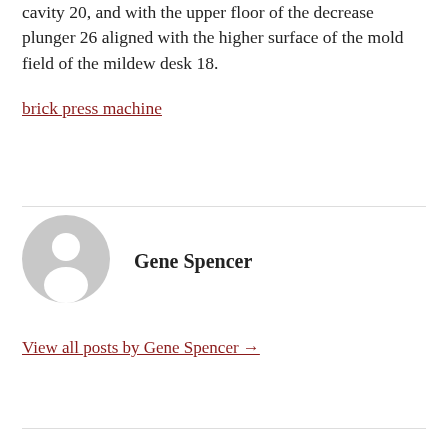cavity 20, and with the upper floor of the decrease plunger 26 aligned with the higher surface of the mold field of the mildew desk 18.
brick press machine
[Figure (illustration): Generic user avatar: grey circle with a white silhouette of a person (head and shoulders)]
Gene Spencer
View all posts by Gene Spencer →